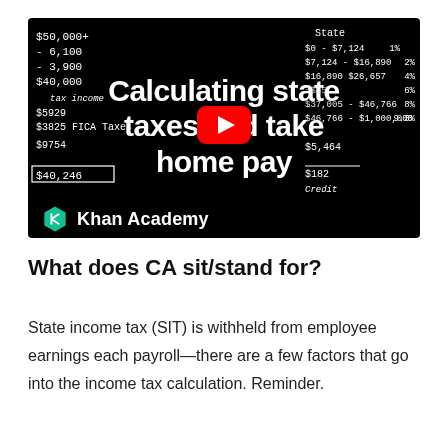[Figure (screenshot): Khan Academy YouTube video thumbnail showing a blackboard with tax calculations and a Texas Instruments calculator. Title text reads 'Calculating state taxes and take home pay'. Khan Academy logo and name visible at bottom left of thumbnail.]
What does CA sit/stand for?
State income tax (SIT) is withheld from employee earnings each payroll—there are a few factors that go into the income tax calculation. Reminder.